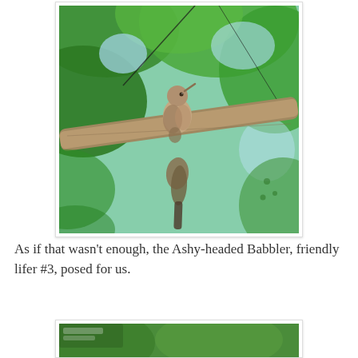[Figure (photo): A small brown bird (Ashy-headed Babbler) perched on a branch among large green tropical leaves with patches of blue sky visible. A second bird hangs below the branch.]
As if that wasn't enough, the Ashy-headed Babbler, friendly lifer #3, posed for us.
[Figure (photo): Partial view of a second photo showing green foliage, partially cropped at the bottom of the page.]